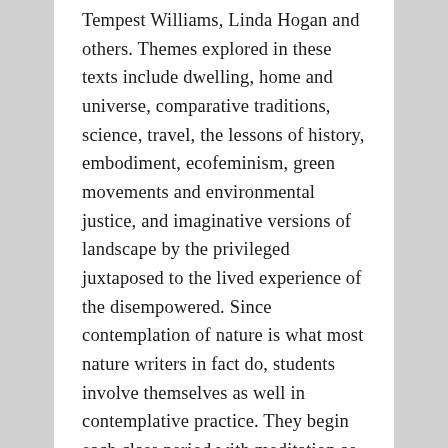Tempest Williams, Linda Hogan and others. Themes explored in these texts include dwelling, home and universe, comparative traditions, science, travel, the lessons of history, embodiment, ecofeminism, green movements and environmental justice, and imaginative versions of landscape by the privileged juxtaposed to the lived experience of the disempowered. Since contemplation of nature is what most nature writers in fact do, students involve themselves as well in contemplative practice. They begin each class period with meditation as a centering exercise; write contemplative journals, etc.